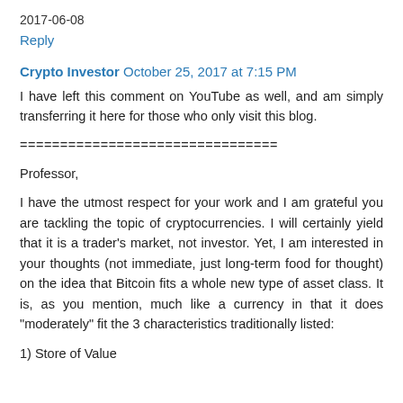2017-06-08
Reply
Crypto Investor  October 25, 2017 at 7:15 PM
I have left this comment on YouTube as well, and am simply transferring it here for those who only visit this blog.
================================
Professor,
I have the utmost respect for your work and I am grateful you are tackling the topic of cryptocurrencies. I will certainly yield that it is a trader's market, not investor. Yet, I am interested in your thoughts (not immediate, just long-term food for thought) on the idea that Bitcoin fits a whole new type of asset class. It is, as you mention, much like a currency in that it does "moderately" fit the 3 characteristics traditionally listed:
1) Store of Value